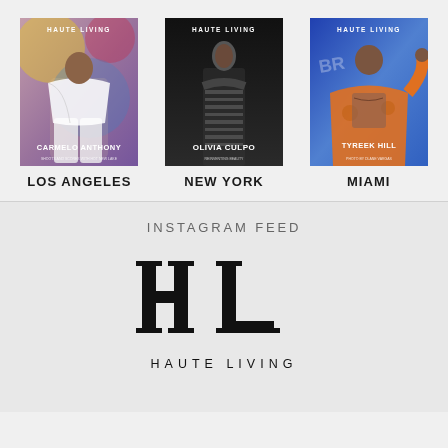[Figure (illustration): Haute Living magazine cover - Los Angeles edition featuring Carmelo Anthony]
LOS ANGELES
[Figure (illustration): Haute Living magazine cover - New York edition featuring Olivia Culpo]
NEW YORK
[Figure (illustration): Haute Living magazine cover - Miami edition featuring Tyreek Hill]
MIAMI
INSTAGRAM FEED
[Figure (logo): Haute Living HL logo with text HAUTE LIVING below]